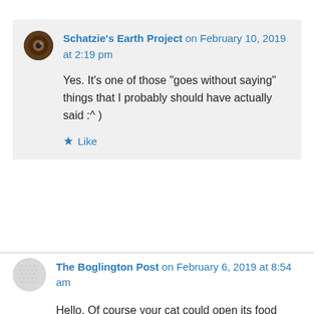Schatzie's Earth Project on February 10, 2019 at 2:19 pm
Yes. It's one of those “goes without saying” things that I probably should have actually said :^ )
Like
The Boglington Post on February 6, 2019 at 8:54 am
Hello. Of course your cat could open its food sachet if it had opposable thumbs. It’s intelligent enough, unlike us. We’re the idiots who designed unopenable catfood pouches! Where